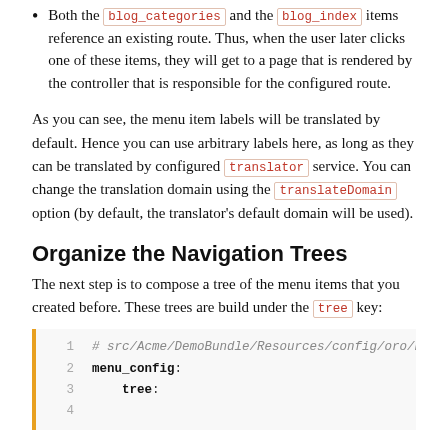Both the blog_categories and the blog_index items reference an existing route. Thus, when the user later clicks one of these items, they will get to a page that is rendered by the controller that is responsible for the configured route.
As you can see, the menu item labels will be translated by default. Hence you can use arbitrary labels here, as long as they can be translated by configured translator service. You can change the translation domain using the translateDomain option (by default, the translator's default domain will be used).
Organize the Navigation Trees
The next step is to compose a tree of the menu items that you created before. These trees are build under the tree key:
[Figure (screenshot): Code block showing YAML configuration: # src/Acme/DemoBundle/Resources/config/oro/naviga... line 1 comment, line 2 menu_config:, line 3 tree:, line 4 (partial)]